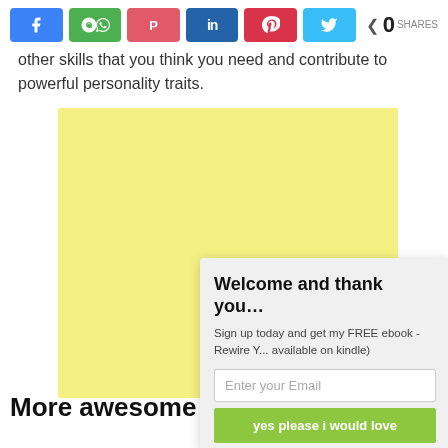[Figure (other): Social media share bar with Facebook, WhatsApp, Pocket, LinkedIn, Pinterest, Twitter buttons and a share count showing 0 SHARES]
other skills that you think you need and contribute to powerful personality traits.
[Figure (other): Yellow advertisement placeholder box]
[Figure (other): Popup overlay with title 'Welcome and thank you...', text 'Sign up today and get my FREE ebook - Rewire Y... available on kindle)', an email input field, and a green 'yes please i would love' button]
More awesome re